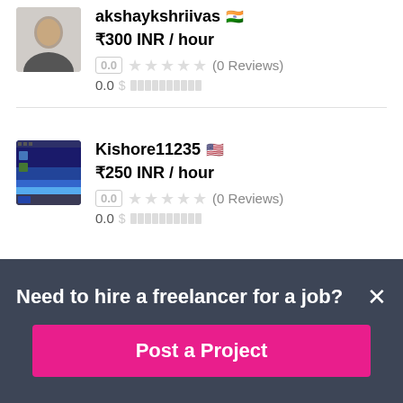akshaykshriivas ₹300 INR / hour 0.0 ★★★★★ (0 Reviews) 0.0
Kishore11235 ₹250 INR / hour 0.0 ★★★★★ (0 Reviews) 0.0
Need to hire a freelancer for a job?
Post a Project